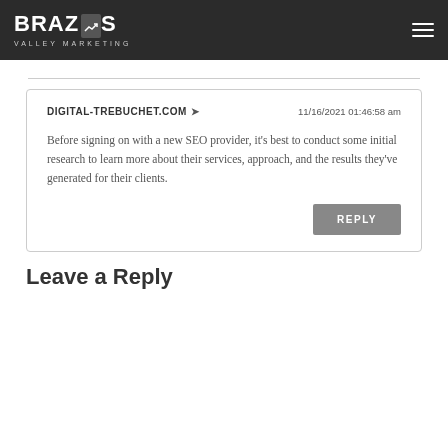BRAZOS VALLEY MARKETING
DIGITAL-TREBUCHET.COM ➤  11/16/2021 01:46:58 am
Before signing on with a new SEO provider, it's best to conduct some initial research to learn more about their services, approach, and the results they've generated for their clients.
Leave a Reply